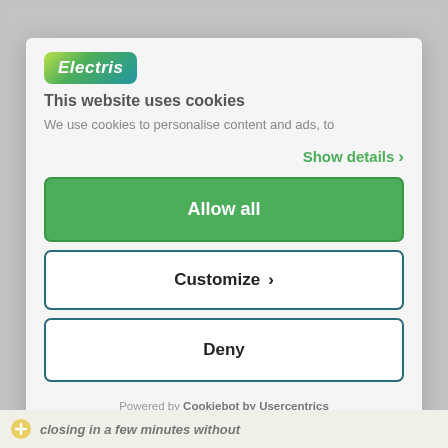[Figure (logo): Electris company logo badge with gradient green/teal background and white italic text]
This website uses cookies
We use cookies to personalise content and ads, to
Show details >
Allow all
Customize >
Deny
Powered by Cookiebot by Usercentrics
closing in a few minutes without